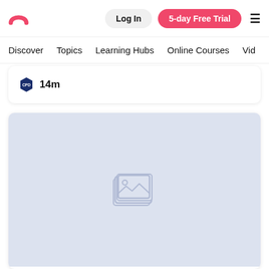[Figure (logo): Red rainbow/arch logo icon]
Log In
5-day Free Trial
≡
Discover  Topics  Learning Hubs  Online Courses  Vid
14m
[Figure (photo): Placeholder image area with image icon, light blue-gray background]
Interviewing and Rapport-Building Techniques with Narelle Fraser